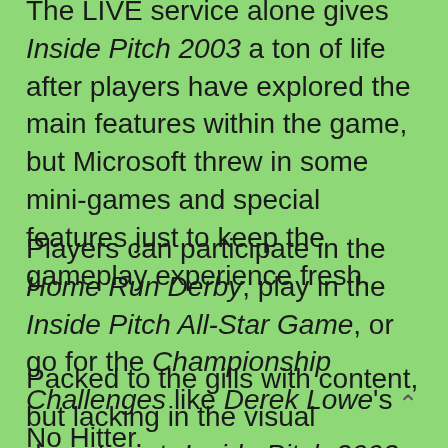The LIVE service alone gives Inside Pitch 2003 a ton of life after players have explored the main features within the game, but Microsoft threw in some mini-games and special features just to keep the gameplay experience fresh.
Players can participate in the Home Run Derby, play in the Inside Pitch All-Star Game, or go for the Championship Challenges like Derek Lowe's No Hitter.
Packed to the gills with content, but lacking in the visual department, Inside Pitch 2003 is